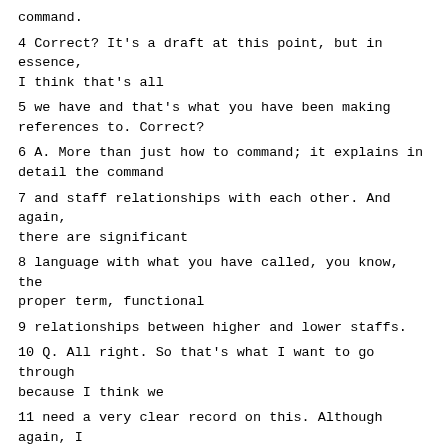command.
4 Correct? It's a draft at this point, but in essence, I think that's all
5 we have and that's what you have been making references to. Correct?
6 A. More than just how to command; it explains in detail the command
7 and staff relationships with each other. And again, there are significant
8 language with what you have called, you know, the proper term, functional
9 relationships between higher and lower staffs.
10 Q. All right. So that's what I want to go through because I think we
11 need a very clear record on this. Although again, I think we're on the
12 same wavelength. If we turn to the next page, it would be page 13. And
13 as you could see, this is chapter 1. It's the chapter on functions of
14 ...